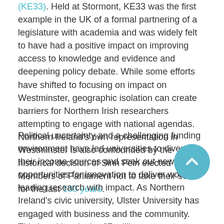(KE33). Held at Stormont, KE33 was the first example in the UK of a formal partnering of a legislature with academia and was widely felt to have had a positive impact on improving access to knowledge and evidence and deepening policy debate. While some efforts have shifted to focusing on impact on Westminster, geographic isolation can create barriers for Northern Irish researchers attempting to engage with national agendas. Northern Ireland's own representation in Westminster is also confounded by the historical decision of Sinn Féin elected Members of Parliament not to take their seats for the last 100 years.
Political uncertainty and a challenging funding environment have led universities to diversify their income sources and seek out new opportunities for innovation to deliver world-leading research with impact. As Northern Ireland's civic university, Ulster University has engaged with business and the community. This is evident in the £7 million research